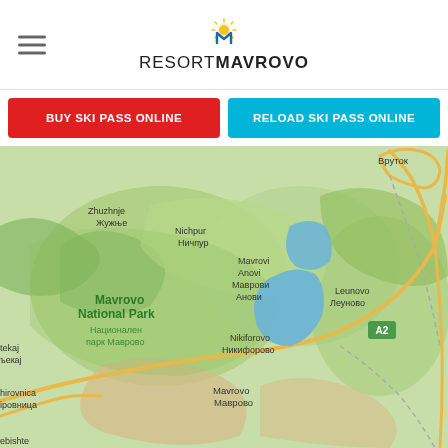RESORT MAVROVO
BUY SKI PASS ONLINE
RELOAD SKI PASS ONLINE
[Figure (map): Google Maps view of Mavrovo National Park area in North Macedonia, showing Mavrovo Lake (blue), surrounding green terrain, settlements including Mavrovi Anovi/Маврови Анови, Leunovo/Леуново, Nikiforovo/Никифорово, Mavrovo/Маврово, Zhuzhnje/Жужње, Nichpur/Ничпур, Galichnik/Галичник, Rostushe/Ростуше, road A2 marked, and Mavrovo National Park / Национален парк Маврово label.]